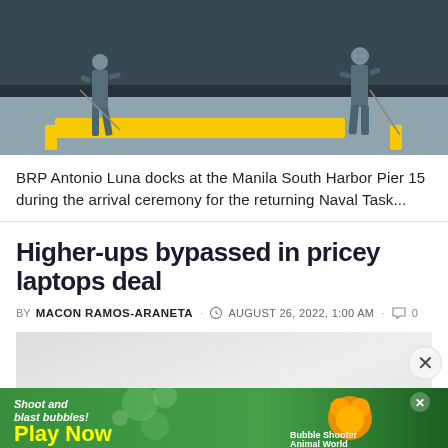[Figure (photo): Military personnel in camouflage uniform standing near a yellow pier barrier with a large naval vessel hull in the background at Manila South Harbor]
BRP Antonio Luna docks at the Manila South Harbor Pier 15 during the arrival ceremony for the returning Naval Task...
Higher-ups bypassed in pricey laptops deal
BY MACON RAMOS-ARANETA  AUGUST 26, 2022, 1:00 AM  0
[Figure (photo): Blurred/placeholder image area for article]
[Figure (photo): Advertisement banner: Shoot and blast bubbles! Play Now - Bubble Shooter Animal World]